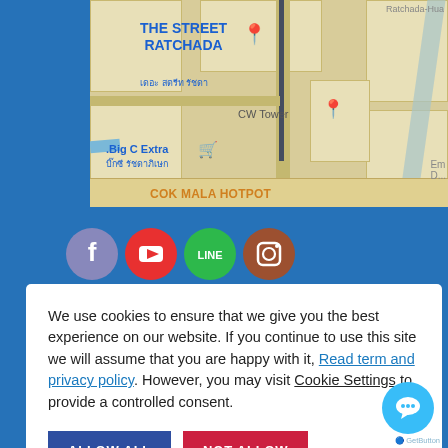[Figure (map): Google Maps screenshot showing The Street Ratchada, Big C Extra, CW Tower, and COK MALA HOTPOT locations in Bangkok, Thailand.]
[Figure (infographic): Row of four social media icons: Facebook (purple-blue circle), YouTube (red circle), LINE (green circle), Instagram (brown circle).]
We use cookies to ensure that we give you the best experience on our website. If you continue to use this site we will assume that you are happy with it, Read term and privacy policy. However, you may visit Cookie Settings to provide a controlled consent.